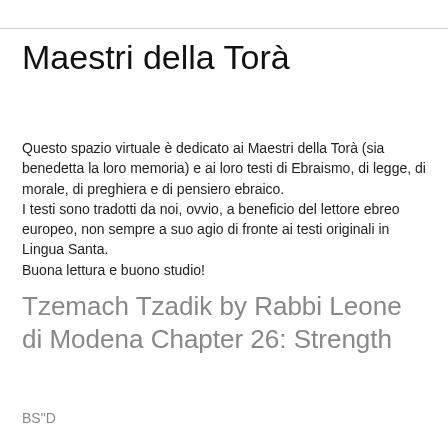Maestri della Torà
Questo spazio virtuale è dedicato ai Maestri della Torà (sia benedetta la loro memoria) e ai loro testi di Ebraismo, di legge, di morale, di preghiera e di pensiero ebraico.
I testi sono tradotti da noi, ovvio, a beneficio del lettore ebreo europeo, non sempre a suo agio di fronte ai testi originali in Lingua Santa.
Buona lettura e buono studio!
Tzemach Tzadik by Rabbi Leone di Modena Chapter 26: Strength
BS"D